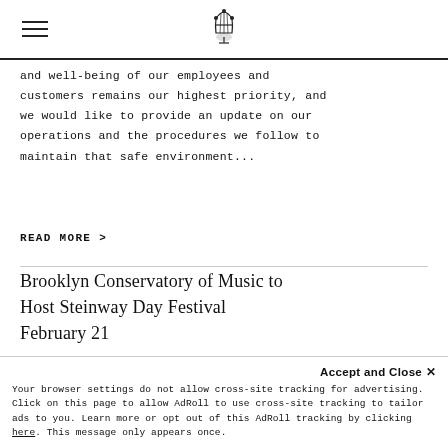Brooklyn Conservatory of Music — navigation header with logo
and well-being of our employees and customers remains our highest priority, and we would like to provide an update on our operations and the procedures we follow to maintain that safe environment...
READ MORE >
Brooklyn Conservatory of Music to Host Steinway Day Festival February 21
ASTORIA, NY (February 19, 2020) – ... Brooklyn Conservatory of Music [BKCM] will host an
Accept and Close ✕
Your browser settings do not allow cross-site tracking for advertising. Click on this page to allow AdRoll to use cross-site tracking to tailor ads to you. Learn more or opt out of this AdRoll tracking by clicking here. This message only appears once.